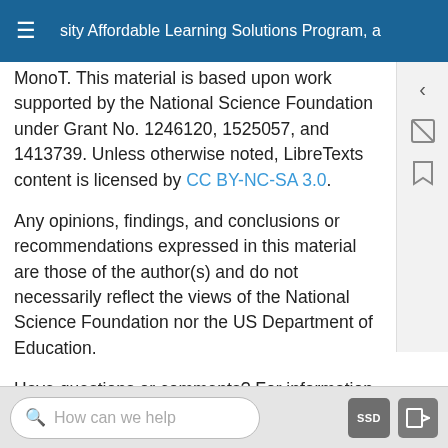University Affordable Learning Solutions Program, and MonoT. This material is based upon work supported by the National Science Foundation under Grant No. 1246120, 1525057, and 1413739. Unless otherwise noted, LibreTexts content is licensed by CC BY-NC-SA 3.0.
Any opinions, findings, and conclusions or recommendations expressed in this material are those of the author(s) and do not necessarily reflect the views of the National Science Foundation nor the US Department of Education.
Have questions or comments? For information about adoptions or adaptions contact info@LibreTexts.org. More information on our activities can be found via